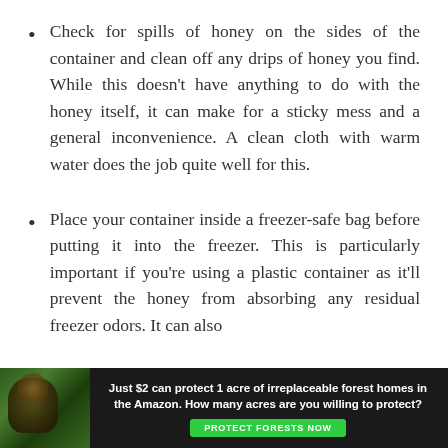Check for spills of honey on the sides of the container and clean off any drips of honey you find. While this doesn’t have anything to do with the honey itself, it can make for a sticky mess and a general inconvenience. A clean cloth with warm water does the job quite well for this.
Place your container inside a freezer-safe bag before putting it into the freezer. This is particularly important if you’re using a plastic container as it’ll prevent the honey from absorbing any residual freezer odors. It can also
[Figure (other): Advertisement banner with dark background showing a forest/Amazon scene. Text reads: 'Just $2 can protect 1 acre of irreplaceable forest homes in the Amazon. How many acres are you willing to protect?' with a green 'PROTECT FORESTS NOW' button.]